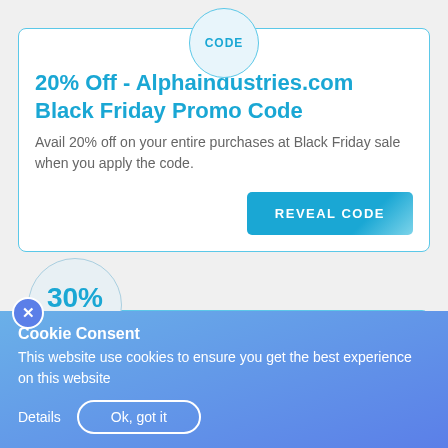CODE
20% Off - Alphaindustries.com Black Friday Promo Code
Avail 20% off on your entire purchases at Black Friday sale when you apply the code.
REVEAL CODE
30% OFF
30% Off Veterans Week - Alpha Industries Promo
Cookie Consent
This website use cookies to ensure you get the best experience on this website
Details
Ok, got it